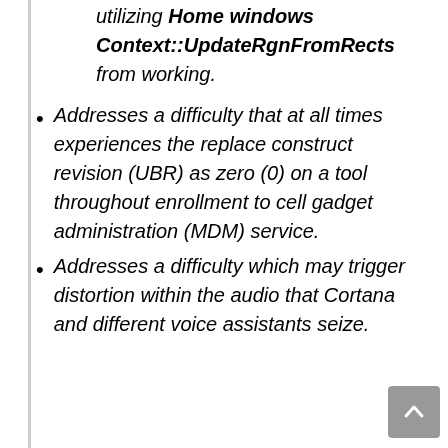utilizing Home windows Context::UpdateRgnFromRects from working.
Addresses a difficulty that at all times experiences the replace construct revision (UBR) as zero (0) on a tool throughout enrollment to cell gadget administration (MDM) service.
Addresses a difficulty which may trigger distortion within the audio that Cortana and different voice assistants seize.